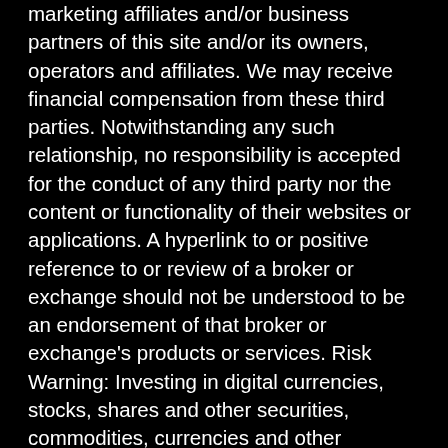marketing affiliates and/or business partners of this site and/or its owners, operators and affiliates. We may receive financial compensation from these third parties. Notwithstanding any such relationship, no responsibility is accepted for the conduct of any third party nor the content or functionality of their websites or applications. A hyperlink to or positive reference to or review of a broker or exchange should not be understood to be an endorsement of that broker or exchange's products or services. Risk Warning: Investing in digital currencies, stocks, shares and other securities, commodities, currencies and other derivative investment products (e.g. contracts for difference ("CFDs") is speculative and carries a high level of risk. Each investment is unique and involves unique risks. CFDs and other derivatives are complex instruments and come with a high risk of losing money rapidly due to leverage. You should consider whether you understand how an investment works and whether you can afford to take the high risk of losing your money. Cryptocurrencies can fluctuate widely in prices and are, therefore, not appropriate for all investors. Trading cryptocurrencies is not supervised by any EU regulatory framework. Past performance does not guarantee future results. Any trading history presented is less than 5 years old